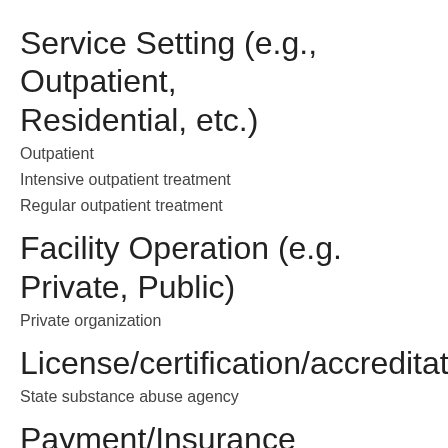Service Setting (e.g., Outpatient, Residential, etc.)
Outpatient
Intensive outpatient treatment
Regular outpatient treatment
Facility Operation (e.g. Private, Public)
Private organization
License/certification/accreditation
State substance abuse agency
Payment/Insurance Accepted
Cash or self-payment
Addiction Hotline 866-716-0142
Private health insurance